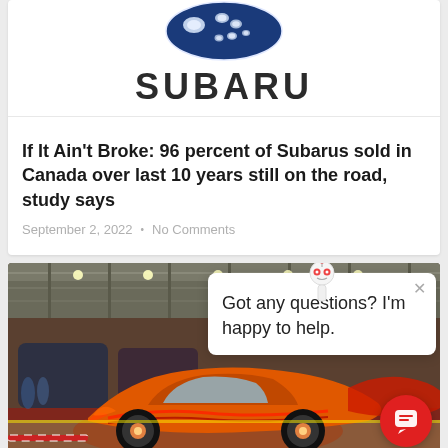[Figure (logo): Subaru brand logo (blue star cluster emblem) with 'SUBARU' text below in bold dark sans-serif]
If It Ain't Broke: 96 percent of Subarus sold in Canada over last 10 years still on the road, study says
September 2, 2022 · No Comments
[Figure (photo): Car show floor photo showing colorful custom vehicles including an orange hot rod, with a chatbot popup overlay saying 'Got any questions? I'm happy to help.' and a red chat button in the lower right corner]